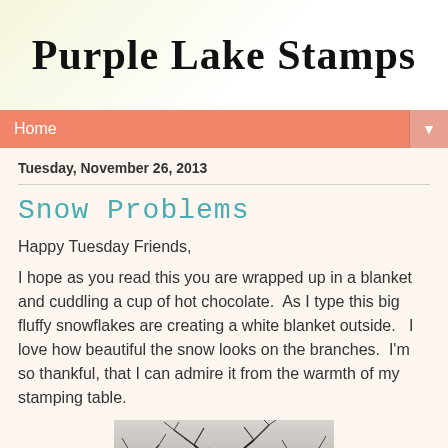Purple Lake Stamps
Home
Tuesday, November 26, 2013
Snow Problems
Happy Tuesday Friends,
I hope as you read this you are wrapped up in a blanket and cuddling a cup of hot chocolate.  As I type this big fluffy snowflakes are creating a white blanket outside.   I love how beautiful the snow looks on the branches.  I'm so thankful, that I can admire it from the warmth of my stamping table.
[Figure (photo): Black and white photo of bare winter tree branches covered in snow]